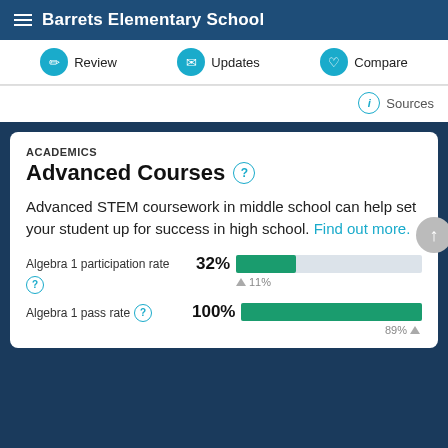Barrets Elementary School
Review | Updates | Compare
Sources
ACADEMICS
Advanced Courses
Advanced STEM coursework in middle school can help set your student up for success in high school. Find out more.
[Figure (bar-chart): Algebra 1 participation rate]
[Figure (bar-chart): Algebra 1 pass rate]